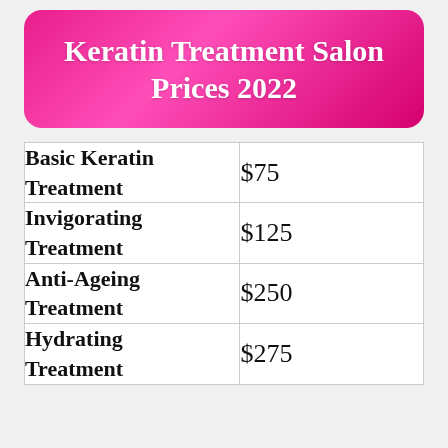Keratin Treatment Salon Prices 2022
| Treatment | Price |
| --- | --- |
| Basic Keratin Treatment | $75 |
| Invigorating Treatment | $125 |
| Anti-Ageing Treatment | $250 |
| Hydrating Treatment | $275 |